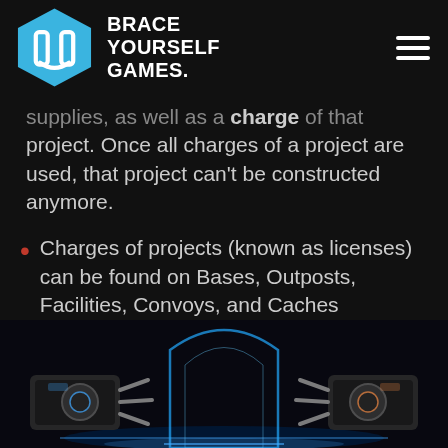BRACE YOURSELF GAMES.
supplies, as well as a charge of that project. Once all charges of a project are used, that project can't be constructed anymore.
Charges of projects (known as licenses) can be found on Bases, Outposts, Facilities, Convoys, and Caches
[Figure (screenshot): In-game screenshot showing robotic arms or mechanical constructs against a dark background with blue glowing elements]